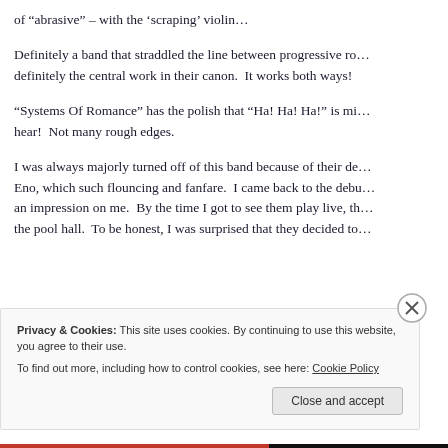of “abrasive” – with the ‘scraping’ violin…
Definitely a band that straddled the line between progressive ro… definitely the central work in their canon.  It works both ways!
“Systems Of Romance” has the polish that “Ha! Ha! Ha!” is mi… hear!  Not many rough edges.
I was always majorly turned off of this band because of their de… Eno, which such flouncing and fanfare.  I came back to the debu… an impression on me.  By the time I got to see them play live, th… the pool hall.  To be honest, I was surprised that they decided to…
Privacy & Cookies: This site uses cookies. By continuing to use this website, you agree to their use.
To find out more, including how to control cookies, see here: Cookie Policy